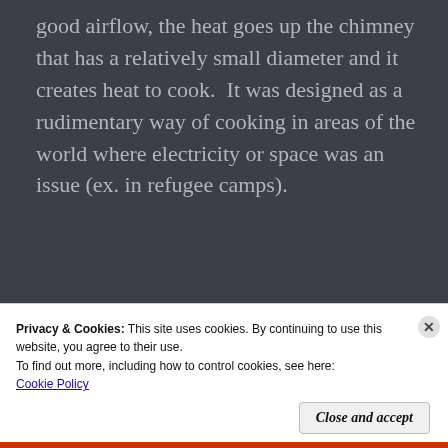good airflow, the heat goes up the chimney that has a relatively small diameter and it creates heat to cook.  It was designed as a rudimentary way of cooking in areas of the world where electricity or space was an issue (ex. in refugee camps).
[Figure (other): WordPress VIP advertisement banner with orange-pink gradient background, WordPress logo on left, and 'Learn more →' button on right]
Privacy & Cookies: This site uses cookies. By continuing to use this website, you agree to their use.
To find out more, including how to control cookies, see here: Cookie Policy